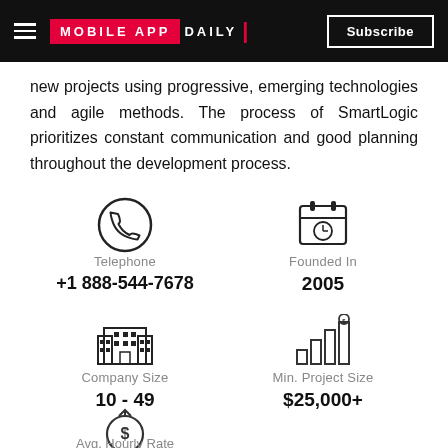MOBILE APP DAILY | Subscribe
new projects using progressive, emerging technologies and agile methods. The process of SmartLogic prioritizes constant communication and good planning throughout the development process.
[Figure (infographic): Telephone icon (phone in circle), label: Telephone, value: +1 888-544-7678]
[Figure (infographic): Calendar/clock icon, label: Founded In, value: 2005]
[Figure (infographic): Building/company icon, label: Company Size, value: 10 - 49]
[Figure (infographic): Bar chart with coin icon, label: Min. Project Size, value: $25,000+]
[Figure (infographic): Dollar/money icon in circle, label: Avg. Hourly Rate (partial)]